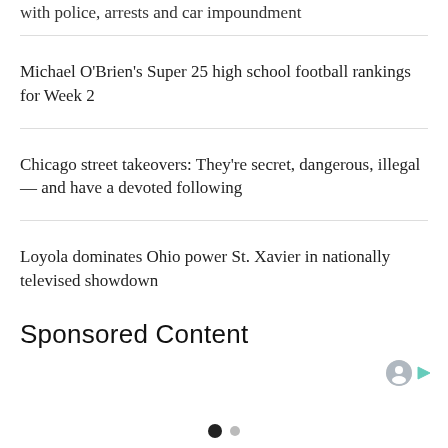with police, arrests and car impoundment
Michael O’Brien’s Super 25 high school football rankings for Week 2
Chicago street takeovers: They’re secret, dangerous, illegal — and have a devoted following
Loyola dominates Ohio power St. Xavier in nationally televised showdown
Sponsored Content